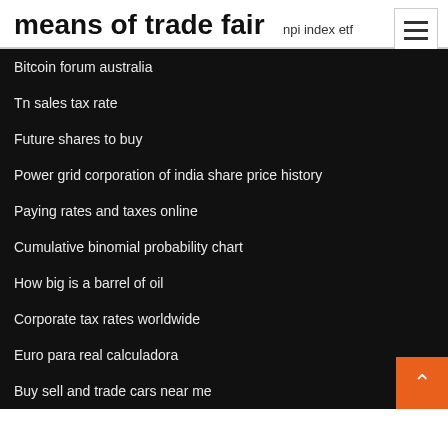means of trade fair
npi index etf
Bitcoin forum australia
Tn sales tax rate
Future shares to buy
Power grid corporation of india share price history
Paying rates and taxes online
Cumulative binomial probability chart
How big is a barrel of oil
Corporate tax rates worldwide
Euro para real calculadora
Buy sell and trade cars near me